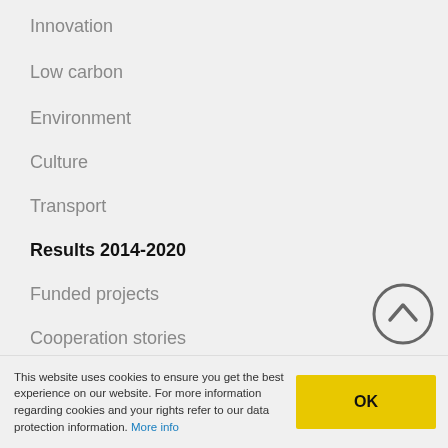Innovation
Low carbon
Environment
Culture
Transport
Results 2014-2020
Funded projects
Cooperation stories
This website uses cookies to ensure you get the best experience on our website. For more information regarding cookies and your rights refer to our data protection information. More info